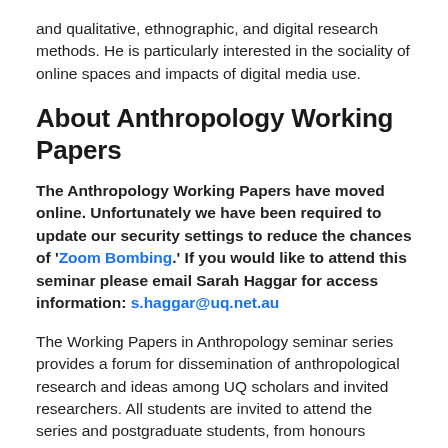and qualitative, ethnographic, and digital research methods. He is particularly interested in the sociality of online spaces and impacts of digital media use.
About Anthropology Working Papers
The Anthropology Working Papers have moved online. Unfortunately we have been required to update our security settings to reduce the chances of 'Zoom Bombing.' If you would like to attend this seminar please email Sarah Haggar for access information: s.haggar@uq.net.au
The Working Papers in Anthropology seminar series provides a forum for dissemination of anthropological research and ideas among UQ scholars and invited researchers. All students are invited to attend the series and postgraduate students, from honours upwards, are invited to present their research. The aim is to provide